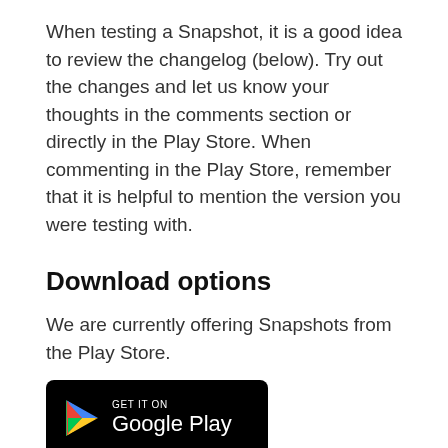When testing a Snapshot, it is a good idea to review the changelog (below). Try out the changes and let us know your thoughts in the comments section or directly in the Play Store. When commenting in the Play Store, remember that it is helpful to mention the version you were testing with.
Download options
We are currently offering Snapshots from the Play Store.
[Figure (logo): Get it on Google Play badge — black rounded rectangle with Google Play triangle logo and text 'GET IT ON Google Play' in white]
Sometimes there might be a delay after a snapshot blog post goes live, while updates are rolled out via the Play Store. If you don't want to wait, or you do not use the Play Store on your device, we also offer .apk files for manual installation.